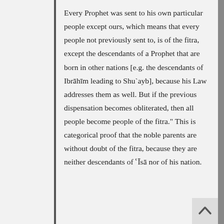Every Prophet was sent to his own particular people except ours, which means that every people not previously sent to, is of the fitra, except the descendants of a Prophet that are born in other nations [e.g. the descendants of Ibrāhīm leading to Shu`ayb], because his Law addresses them as well. But if the previous dispensation becomes obliterated, then all people become people of the fitra." This is categorical proof that the noble parents are without doubt of the fitra, because they are neither descendants of ʿĪsā nor of his nation.